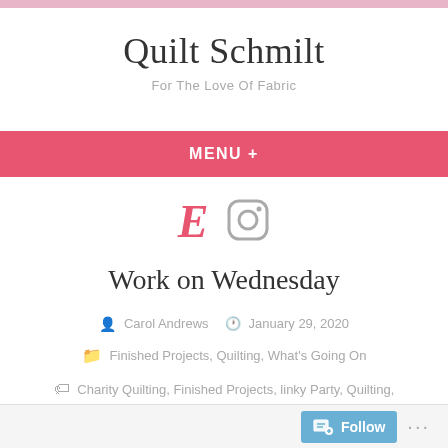Quilt Schmilt
For The Love Of Fabric
MENU +
[Figure (logo): Etsy E logo and Instagram icon]
Work on Wednesday
Carol Andrews  January 29, 2020
Finished Projects, Quilting, What's Going On
Charity Quilting, Finished Projects, linky Party, Quilting, Scrappy, Testing, What's Going On, WIP
Follow ...